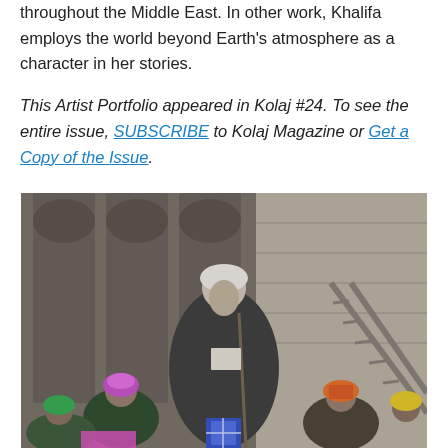throughout the Middle East. In other work, Khalifa employs the world beyond Earth's atmosphere as a character in her stories.
This Artist Portfolio appeared in Kolaj #24. To see the entire issue, SUBSCRIBE to Kolaj Magazine or Get a Copy of the Issue.
[Figure (photo): Black and white historical photograph showing an elderly man in traditional Middle Eastern dress (white turban, dark robe) seated and holding a cane, surrounded by children wearing colorful patterned headscarves and clothing, in front of an ornate wooden lattice building facade with stone walls visible to the right.]